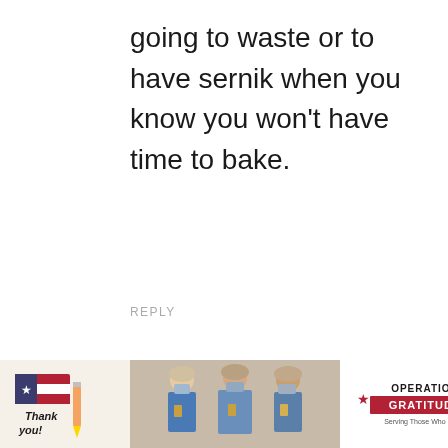going to waste or to have sernik when you know you won't have time to bake.
REPLY
Denise M Wheatley
[Figure (screenshot): Advertisement banner at bottom: 'Thank you!' with American flag pencil graphic on left, photo of three masked healthcare workers in middle, Operation Gratitude logo on right, with close buttons.]